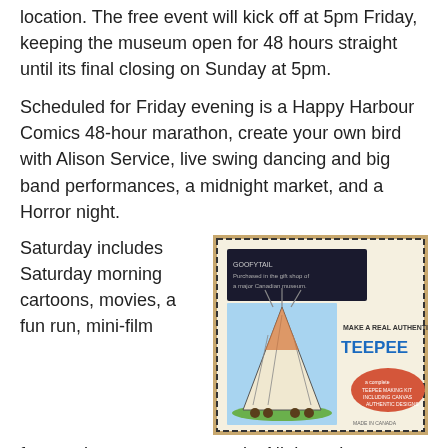location. The free event will kick off at 5pm Friday, keeping the museum open for 48 hours straight until its final closing on Sunday at 5pm.
Scheduled for Friday evening is a Happy Harbour Comics 48-hour marathon, create your own bird with Alison Service, live swing dancing and big band performances, a midnight market, and a Horror night.
[Figure (photo): A vintage-style activity kit showing an illustration of a teepee with the text 'MAKE A REAL AUTHENTIC TEEPEE' in bold letters. There is a black label/tag and an orange oval badge with additional text.]
Saturday includes Saturday morning cartoons, movies, a fun run, mini-film fest, make your own art, and a Night at the Museum movie marathon. On Sunday local musicians Carrie Day and Kylor Schogen will perform.